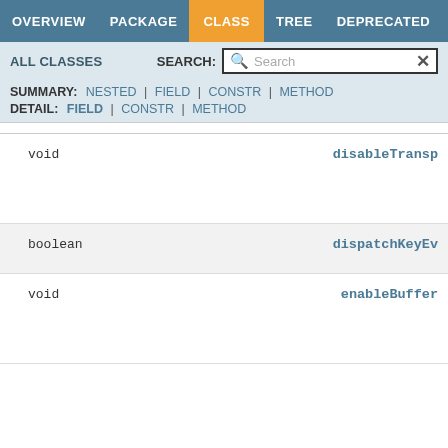OVERVIEW  PACKAGE  CLASS  TREE  DEPRECATED  INDEX
ALL CLASSES   SEARCH:
SUMMARY: NESTED | FIELD | CONSTR | METHOD
DETAIL: FIELD | CONSTR | METHOD
| Return Type | Method |
| --- | --- |
| void | disableTransp... |
| boolean | dispatchKeyEv... |
| void | enableBuffer... |